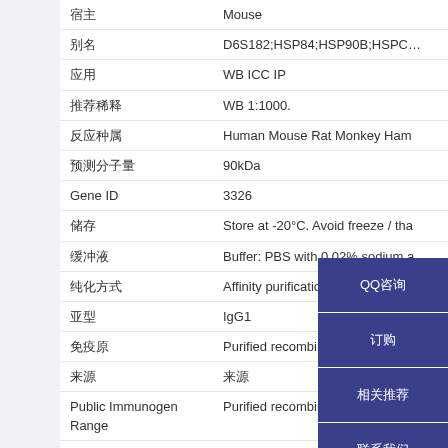| Field | Value |
| --- | --- |
| 宿主 | Mouse |
| 别名 | D6S182;HSP84;HSP90B;HSPC2;HSPCB |
| 应用 | WB ICC IP |
| 推荐稀释 | WB 1:1000. |
| 反应种属 | Human Mouse Rat Monkey Ham |
| 预测分子量 | 90kDa |
| Gene ID | 3326 |
| 储存 | Store at -20°C. Avoid freeze / tha |
| 缓冲液 | Buffer: PBS with 0.02% sodium a |
| 纯化方式 | Affinity purification |
| 亚型 | IgG1 |
| 免疫原 | Purified recombinant human Hsp |
| 来源 | 来源 |
| Public Immunogen Range | Purified recombinant human Hsp |
| Subcellular Locations | Cytoplasm Melanosome |